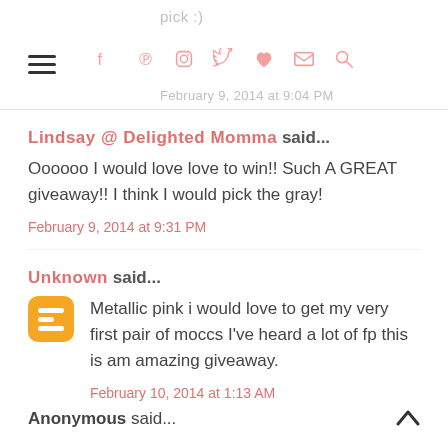pick :)
February 9, 2014 at 9:04 PM
Lindsay @ Delighted Momma said... Oooooo I would love love to win!! Such A GREAT giveaway!! I think I would pick the gray! February 9, 2014 at 9:31 PM
Unknown said... Metallic pink i would love to get my very first pair of moccs I've heard a lot of fp this is am amazing giveaway. February 10, 2014 at 1:13 AM
Anonymous said...